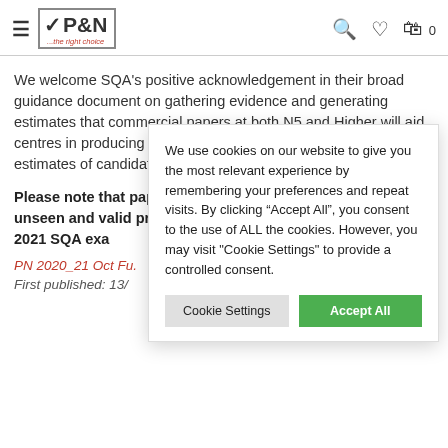P&N ...the right choice
We welcome SQA's positive acknowledgement in their broad guidance document on gathering evidence and generating estimates that commercial papers at both N5 and Higher will aid centres in producing robust evidence to support accurate estimates of candidate performance.
Please note that papers, publishin unseen and valid prelim papers co for 2021 SQA exa
PN 2020_21 Oct Fu.
First published: 13/
We use cookies on our website to give you the most relevant experience by remembering your preferences and repeat visits. By clicking “Accept All”, you consent to the use of ALL the cookies. However, you may visit "Cookie Settings" to provide a controlled consent.